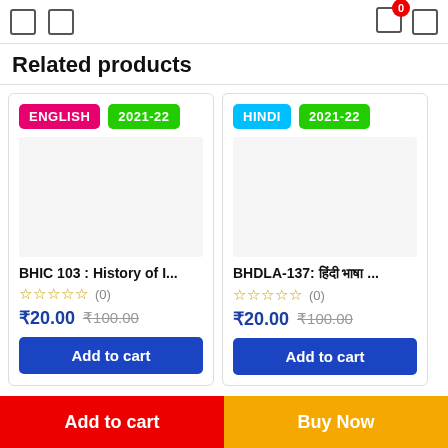Navigation bar with icons and cart badge showing 0
Related products
ENGLISH | 2021-22
BHIC 103 : History of I...
☆☆☆☆☆ (0)
₹20.00 ₹100.00
Add to cart
HINDI | 2021-22
BHDLA-137: हिंदी भाषा ...
☆☆☆☆☆ (0)
₹20.00 ₹100.00
Add to cart
Add to cart | Buy Now